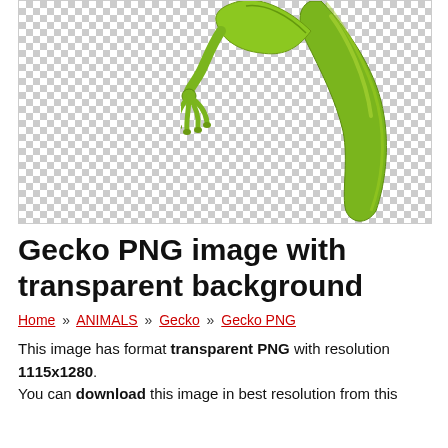[Figure (illustration): A cartoon green gecko/lizard illustration with transparent PNG background shown on a checkerboard pattern. Only the upper body, tail, and feet are visible, cropped at the top of the page.]
Gecko PNG image with transparent background
Home » ANIMALS » Gecko » Gecko PNG
This image has format transparent PNG with resolution 1115x1280. You can download this image in best resolution from this